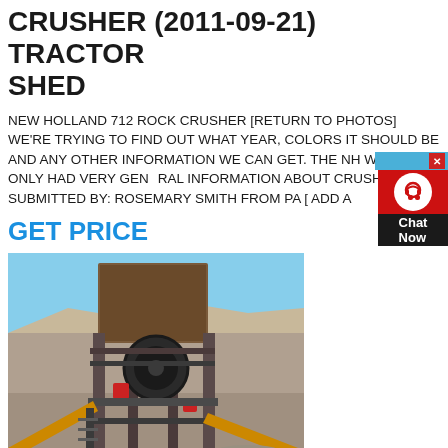CRUSHER (2011-09-21) TRACTOR SHED
NEW HOLLAND 712 ROCK CRUSHER [RETURN TO PHOTOS] WE'RE TRYING TO FIND OUT WHAT YEAR, COLORS IT SHOULD BE AND ANY OTHER INFORMATION WE CAN GET. THE NH WEBSITE ONLY HAD VERY GEN INFORMATION ABOUT CRUSHERS. SUBMITTED BY: ROSEMARY SMITH FROM PA [ ADD A
GET PRICE
[Figure (photo): Photo of a large industrial rock crusher machine with conveyor belts, set outdoors against a blue sky and rocky terrain background.]
NEW HOLLAND CELEBRATES 12